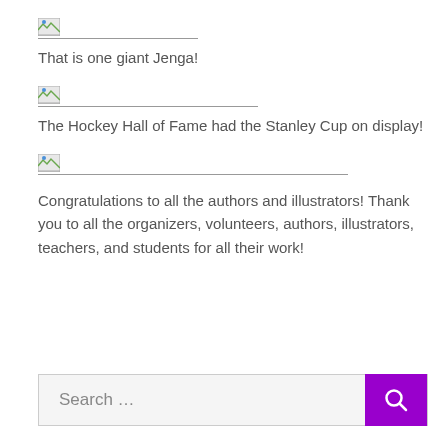[Figure (photo): Broken image placeholder with underline]
That is one giant Jenga!
[Figure (photo): Broken image placeholder with underline]
The Hockey Hall of Fame had the Stanley Cup on display!
[Figure (photo): Broken image placeholder with underline]
Congratulations to all the authors and illustrators! Thank you to all the organizers, volunteers, authors, illustrators, teachers, and students for all their work!